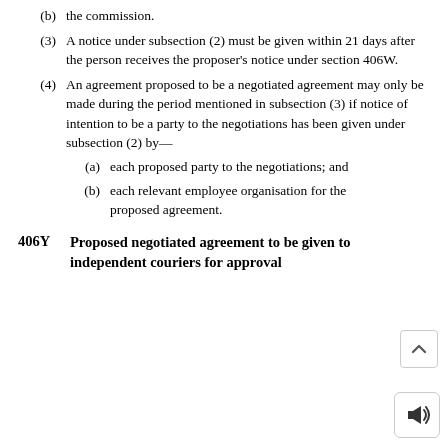(b) the commission.
(3) A notice under subsection (2) must be given within 21 days after the person receives the proposer’s notice under section 406W.
(4) An agreement proposed to be a negotiated agreement may only be made during the period mentioned in subsection (3) if notice of intention to be a party to the negotiations has been given under subsection (2) by—
(a) each proposed party to the negotiations; and
(b) each relevant employee organisation for the proposed agreement.
406Y Proposed negotiated agreement to be given to independent couriers for approval